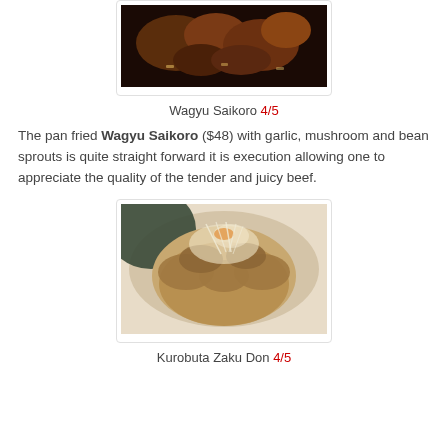[Figure (photo): Pan fried Wagyu Saikoro beef cubes in a dark pan with garlic]
Wagyu Saikoro 4/5
The pan fried Wagyu Saikoro ($48) with garlic, mushroom and bean sprouts is quite straight forward it is execution allowing one to appreciate the quality of the tender and juicy beef.
[Figure (photo): Kurobuta Zaku Don - pork belly over rice in a bowl, topped with shredded vegetables and nori]
Kurobuta Zaku Don 4/5